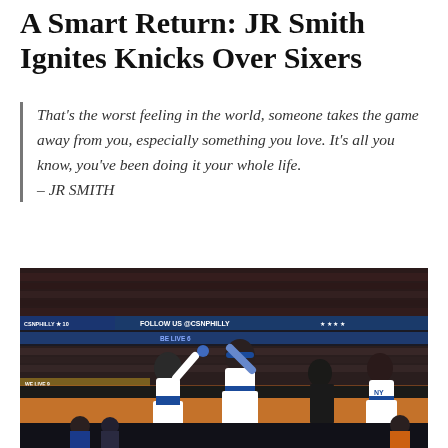A Smart Return: JR Smith Ignites Knicks Over Sixers
That's the worst feeling in the world, someone takes the game away from you, especially something you love. It's all you know, you've been doing it your whole life. – JR SMITH
[Figure (photo): Basketball players in white New York Knicks uniforms celebrating with high fives on the court sideline, with a packed arena crowd in the background. Arena signage reads 'FOLLOW US @CSNPHILLY' and 'BE LIVE'. Players wearing blue headbands and blue/white uniforms.]